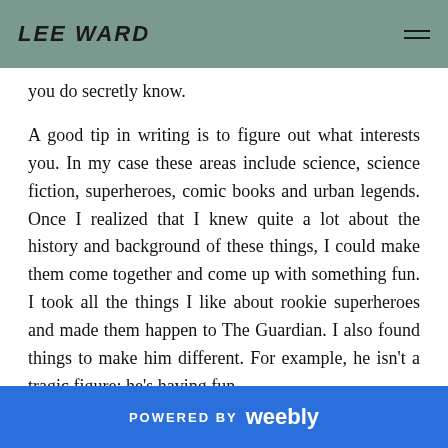LEE WARD
you do secretly know.
A good tip in writing is to figure out what interests you. In my case these areas include science, science fiction, superheroes, comic books and urban legends. Once I realized that I knew quite a lot about the history and background of these things, I could make them come together and come up with something fun. I took all the things I like about rookie superheroes and made them happen to The Guardian. I also found things to make him different. For example, he isn't a tragic figure; he's having fun.
POWERED BY weebly